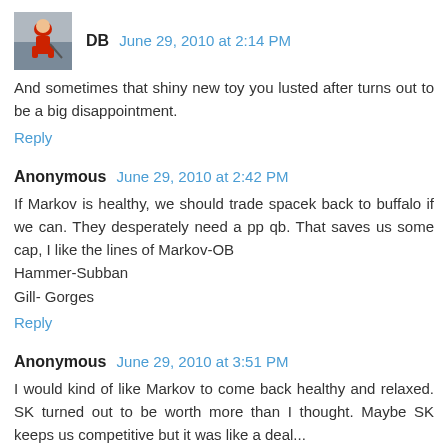[Figure (photo): Small avatar image of a hockey player in red uniform]
DB June 29, 2010 at 2:14 PM
And sometimes that shiny new toy you lusted after turns out to be a big disappointment.
Reply
Anonymous June 29, 2010 at 2:42 PM
If Markov is healthy, we should trade spacek back to buffalo if we can. They desperately need a pp qb. That saves us some cap, I like the lines of Markov-OB
Hammer-Subban
Gill- Gorges
Reply
Anonymous June 29, 2010 at 3:51 PM
I would kind of like Markov to come back healthy and relaxed. SK turned out to be worth more than I thought. Maybe SK keeps us competitive but it was like a deal...